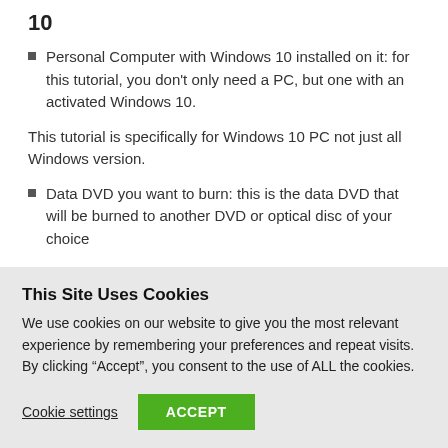10
Personal Computer with Windows 10 installed on it: for this tutorial, you don't only need a PC, but one with an activated Windows 10.
This tutorial is specifically for Windows 10 PC not just all Windows version.
Data DVD you want to burn: this is the data DVD that will be burned to another DVD or optical disc of your choice
This Site Uses Cookies
We use cookies on our website to give you the most relevant experience by remembering your preferences and repeat visits. By clicking “Accept”, you consent to the use of ALL the cookies.
Cookie settings
ACCEPT